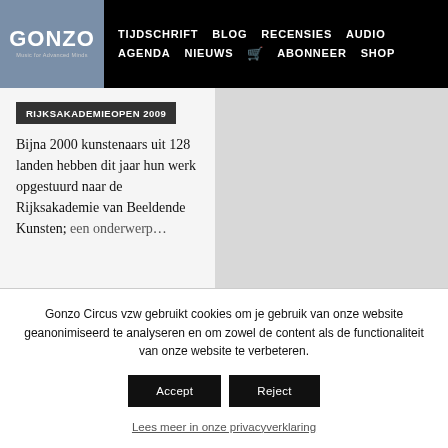GONZO | TIJDSCHRIFT BLOG RECENSIES AUDIO AGENDA NIEUWS ABONNEER SHOP
RIJKSAKADEMIEOPEN 2009
Bijna 2000 kunstenaars uit 128 landen hebben dit jaar hun werk opgestuurd naar de Rijksakademie van Beeldende Kunsten; een onderwerp…
Gonzo Circus vzw gebruikt cookies om je gebruik van onze website geanonimiseerd te analyseren en om zowel de content als de functionaliteit van onze website te verbeteren.
Accept   Reject
Lees meer in onze privacyverklaring